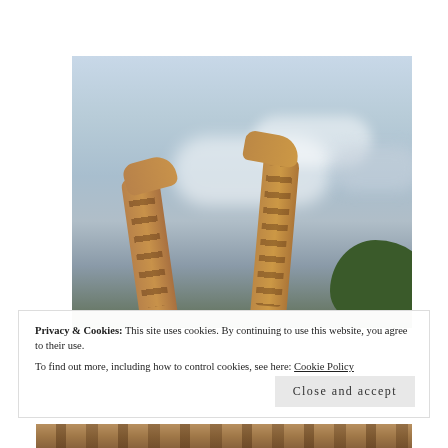[Figure (photo): Two giraffes with long necks visible against a cloudy sky with a tree silhouette in the background]
Privacy & Cookies: This site uses cookies. By continuing to use this website, you agree to their use.
To find out more, including how to control cookies, see here: Cookie Policy
[Figure (photo): Bottom strip showing giraffe body pattern with spots]